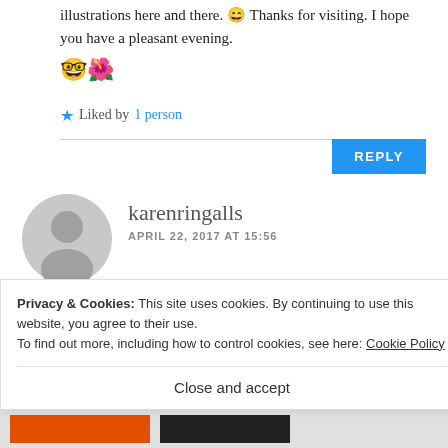illustrations here and there. 😄 Thanks for visiting. I hope you have a pleasant evening. 🤓🌺
★ Liked by 1 person
REPLY
karenringalls
APRIL 22, 2017 AT 15:56
Maretha, my two grandsons loved your
Privacy & Cookies: This site uses cookies. By continuing to use this website, you agree to their use.
To find out more, including how to control cookies, see here: Cookie Policy
Close and accept